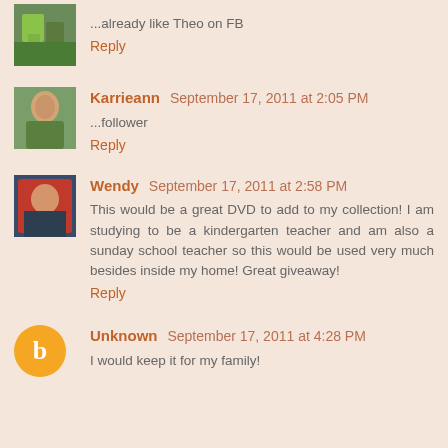...already like Theo on FB
Reply
Karrieann September 17, 2011 at 2:05 PM
...follower
Reply
Wendy September 17, 2011 at 2:58 PM
This would be a great DVD to add to my collection! I am studying to be a kindergarten teacher and am also a sunday school teacher so this would be used very much besides inside my home! Great giveaway!
Reply
Unknown September 17, 2011 at 4:28 PM
I would keep it for my family!